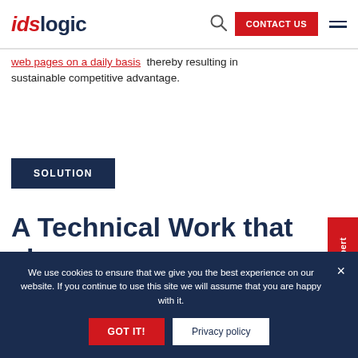idslogic — CONTACT US
web pages on a daily basis   thereby resulting in sustainable competitive advantage.
SOLUTION
A Technical Work that change Emma's Diary
Ask An Expert
We use cookies to ensure that we give you the best experience on our website. If you continue to use this site we will assume that you are happy with it.
GOT IT!  Privacy policy